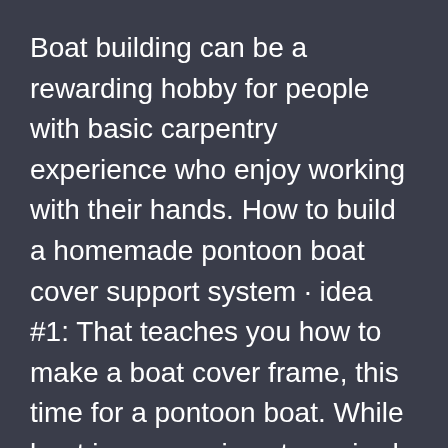Boat building can be a rewarding hobby for people with basic carpentry experience who enjoy working with their hands. How to build a homemade pontoon boat cover support system · idea #1: That teaches you how to make a boat cover frame, this time for a pontoon boat. While boat insurance is not required in every state, it's something you definitely want to consider. I currently have a 24' landau pontoon that i have had for a couple of years. Just like taxicab insurance rate. Thanks to the many diy boat kits now available to boating. Insurance rates in texas and other